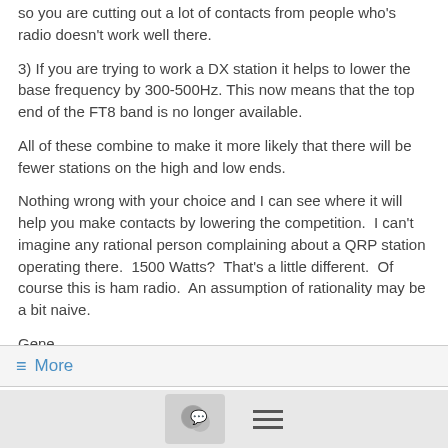so you are cutting out a lot of contacts from people who's radio doesn't work well there.
3) If you are trying to work a DX station it helps to lower the base frequency by 300-500Hz. This now means that the top end of the FT8 band is no longer available.
All of these combine to make it more likely that there will be fewer stations on the high and low ends.
Nothing wrong with your choice and I can see where it will help you make contacts by lowering the competition.  I can't imagine any rational person complaining about a QRP station operating there.  1500 Watts?  That's a little different.  Of course this is ham radio.  An assumption of rationality may be a bit naive.
Gene
NG1H
≡ More